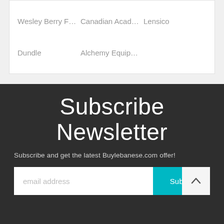| Wesley Berry F... | Canadian Acad... | Lensico |
| Dundle | Alchemy Equip... |  |
Subscribe Newsletter
Subscribe and get the latest Buylebanese.com offer!
[Figure (screenshot): Email subscription form with email address input field, Subscribe button, and a back-to-top arrow button]